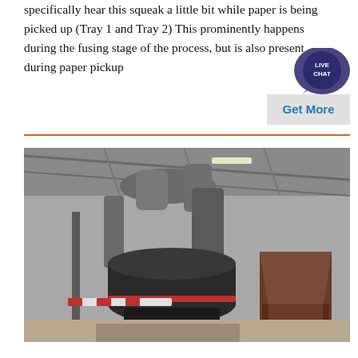specifically hear this squeak a little bit while paper is being picked up (Tray 1 and Tray 2) This prominently happens during the fusing stage of the process, but is also present during paper pickup
[Figure (other): Live Chat bubble and Get More button widget]
[Figure (photo): Industrial milling or grinding machine inside a large warehouse/factory building with metal ductwork and conveyor equipment visible.]